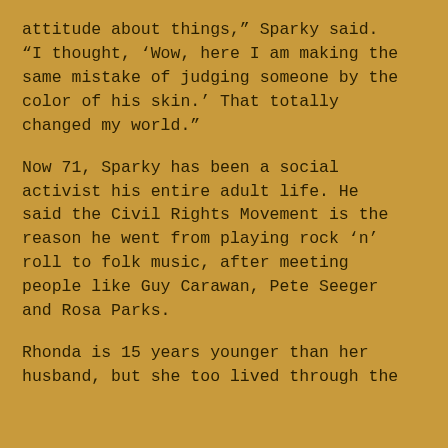attitude about things," Sparky said. "I thought, 'Wow, here I am making the same mistake of judging someone by the color of his skin.' That totally changed my world."
Now 71, Sparky has been a social activist his entire adult life. He said the Civil Rights Movement is the reason he went from playing rock 'n' roll to folk music, after meeting people like Guy Carawan, Pete Seeger and Rosa Parks.
Rhonda is 15 years younger than her husband, but she too lived through the